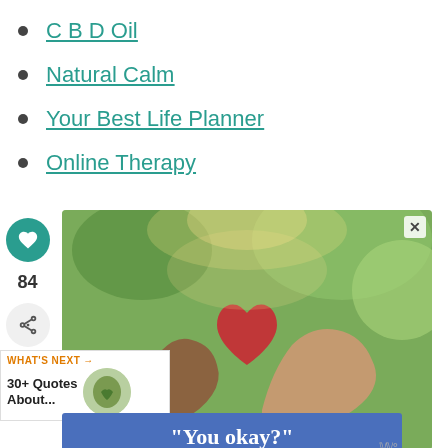CBD Oil
Natural Calm
Your Best Life Planner
Online Therapy
[Figure (photo): Two hands forming a heart shape against a green bokeh background, with a blue banner overlay reading '"You okay?"']